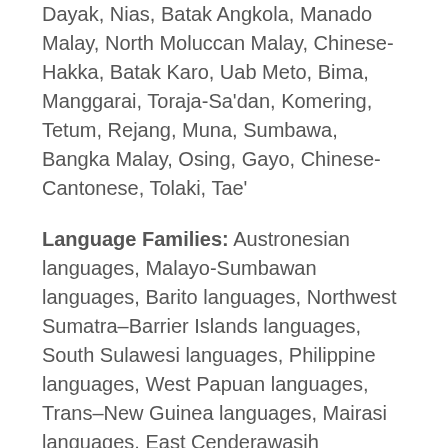Dayak, Nias, Batak Angkola, Manado Malay, North Moluccan Malay, Chinese-Hakka, Batak Karo, Uab Meto, Bima, Manggarai, Toraja-Sa'dan, Komering, Tetum, Rejang, Muna, Sumbawa, Bangka Malay, Osing, Gayo, Chinese-Cantonese, Tolaki, Tae'
Language Families: Austronesian languages, Malayo-Sumbawan languages, Barito languages, Northwest Sumatra–Barrier Islands languages, South Sulawesi languages, Philippine languages, West Papuan languages, Trans–New Guinea languages, Mairasi languages, East Cenderawasih (Geelvink Bay) languages, Lakes Plain languages, Tor–Kwerba languages, Nimboran languages, Skou languages (Skou), Border languages, Senagi languages, Pauwasi languages